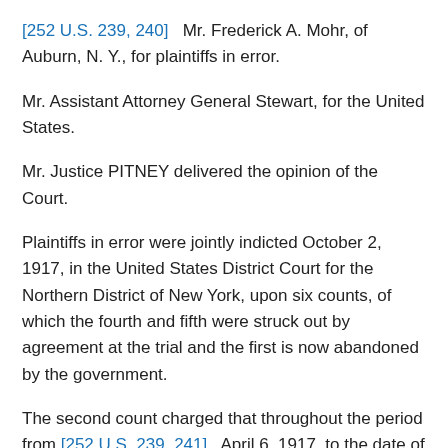[252 U.S. 239, 240]   Mr. Frederick A. Mohr, of Auburn, N. Y., for plaintiffs in error.
Mr. Assistant Attorney General Stewart, for the United States.
Mr. Justice PITNEY delivered the opinion of the Court.
Plaintiffs in error were jointly indicted October 2, 1917, in the United States District Court for the Northern District of New York, upon six counts, of which the fourth and fifth were struck out by agreement at the trial and the first is now abandoned by the government.
The second count charged that throughout the period from [252 U.S. 239, 241]   April 6, 1917, to the date of the presentation of the indictment, the United States being at war with the Imperial German government, defendants at the city of Albany, in the Northern district of New York and within